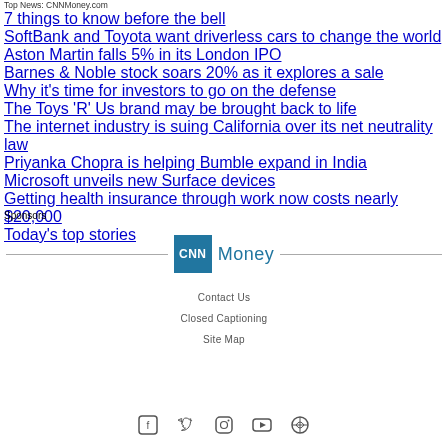Top News: CNNMoney.com
7 things to know before the bell
SoftBank and Toyota want driverless cars to change the world
Aston Martin falls 5% in its London IPO
Barnes & Noble stock soars 20% as it explores a sale
Why it's time for investors to go on the defense
The Toys 'R' Us brand may be brought back to life
The internet industry is suing California over its net neutrality law
Priyanka Chopra is helping Bumble expand in India
Microsoft unveils new Surface devices
Getting health insurance through work now costs nearly $20,000
Today's top stories
Sponsors
[Figure (logo): CNN Money logo with blue CNN square and Money text]
Contact Us
Closed Captioning
Site Map
[Figure (illustration): Social media icons: Facebook, Twitter, Instagram, YouTube, RSS]